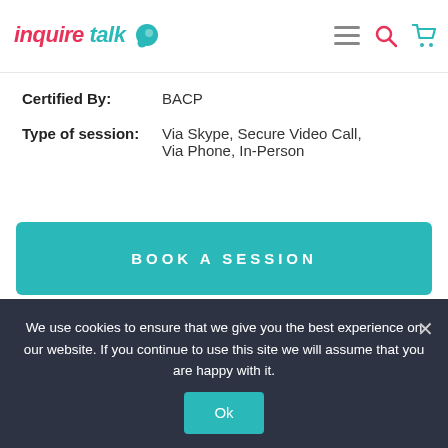inquire talk
| Field | Value |
| --- | --- |
| Certified By: | BACP |
| Type of session: | Via Skype, Secure Video Call, Via Phone, In-Person |
BOOK A SESSION
Counsellor
We use cookies to ensure that we give you the best experience on our website. If you continue to use this site we will assume that you are happy with it.
Ok